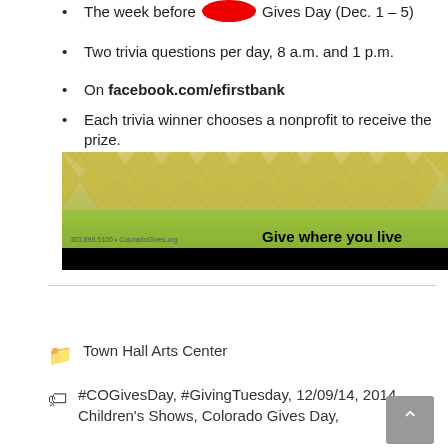The week before Colorado Gives Day (Dec. 1 – 5)
Two trivia questions per day, 8 a.m. and 1 p.m.
On facebook.com/efirstbank
Each trivia winner chooses a nonprofit to receive the prize.
[Figure (illustration): Decorative zigzag/chevron pattern band in gold and green with text 'Give where you live' on the right and small text on the left, followed by a black bar below.]
Town Hall Arts Center
#COGivesDay, #GivingTuesday, 12/09/14, 2014, Children's Shows, Colorado Gives Day,